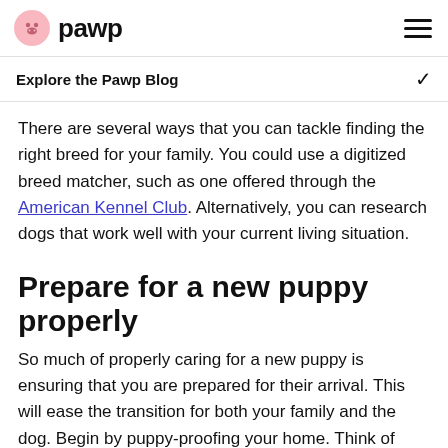pawp
Explore the Pawp Blog
There are several ways that you can tackle finding the right breed for your family. You could use a digitized breed matcher, such as one offered through the American Kennel Club. Alternatively, you can research dogs that work well with your current living situation.
Prepare for a new puppy properly
So much of properly caring for a new puppy is ensuring that you are prepared for their arrival. This will ease the transition for both your family and the dog. Begin by puppy-proofing your home. Think of